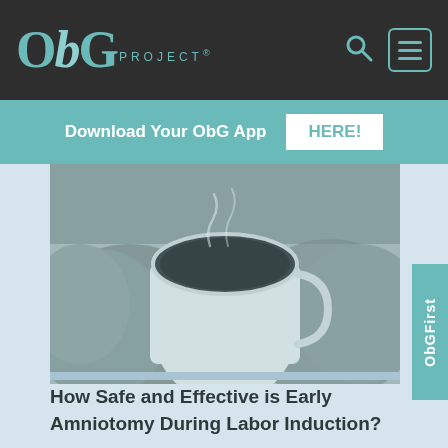ObG PROJECT® [search icon] [menu icon]
Download Your ObG App HERE!
[Figure (photo): Grayscale photo of two hands in knitted mittens holding a white mug of coffee or tea, with steam visible, teal-tinted]
How Safe and Effective is Early Amniotomy During Labor Induction?